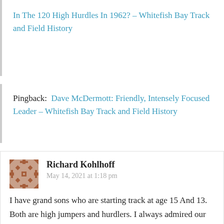In The 120 High Hurdles In 1962? – Whitefish Bay Track and Field History
Pingback: Dave McDermott: Friendly, Intensely Focused Leader – Whitefish Bay Track and Field History
Richard Kohlhoff
May 14, 2021 at 1:18 pm
I have grand sons who are starting track at age 15 And 13. Both are high jumpers and hurdlers. I always admired our great track athletes and their accomplishments. Your story's are great